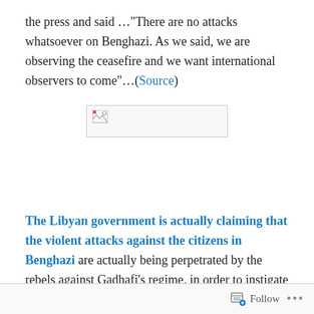the press and said …"There are no attacks whatsoever on Benghazi. As we said, we are observing the ceasefire and we want international observers to come"…(Source)
[Figure (other): Broken image placeholder — a small image box with a broken image icon and a light border]
The Libyan government is actually claiming that the violent attacks against the citizens in Benghazi are actually being perpetrated by the rebels against Gadhafi's regime, in order to instigate a UN  led military response.
Follow ...